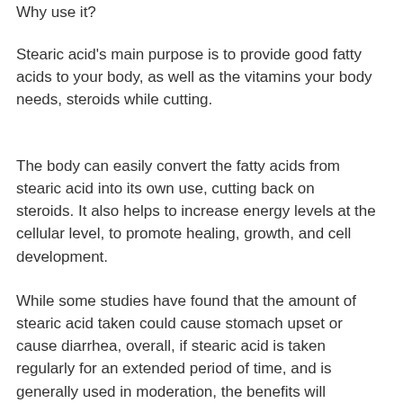Why use it?
Stearic acid's main purpose is to provide good fatty acids to your body, as well as the vitamins your body needs, steroids while cutting.
The body can easily convert the fatty acids from stearic acid into its own use, cutting back on steroids. It also helps to increase energy levels at the cellular level, to promote healing, growth, and cell development.
While some studies have found that the amount of stearic acid taken could cause stomach upset or cause diarrhea, overall, if stearic acid is taken regularly for an extended period of time, and is generally used in moderation, the benefits will outweigh this risk, vital proteins collagen peptides reviews weight loss.